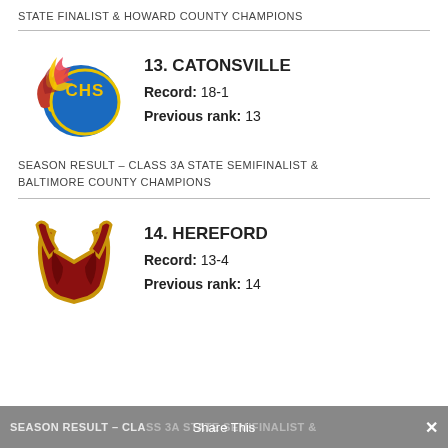STATE FINALIST & HOWARD COUNTY CHAMPIONS
[Figure (logo): Catonsville High School CHS flame logo — blue circle with CHS text and yellow/red flames]
13. CATONSVILLE
Record: 18-1
Previous rank: 13
SEASON RESULT – CLASS 3A STATE SEMIFINALIST & BALTIMORE COUNTY CHAMPIONS
[Figure (logo): Hereford High School bull horns logo — dark red/maroon outlined in gold]
14. HEREFORD
Record: 13-4
Previous rank: 14
SEASON RESULT – CLASS 3A STATE SEMIFINALIST &